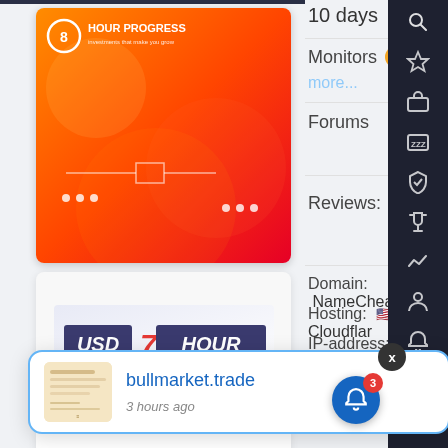[Figure (screenshot): Hour Progress investment platform card - orange/red gradient background with logo and circuit lines]
[Figure (logo): USD7HOUR logo on white card background]
10 days
Monitors 8  • hyipboybto
more...
Forums
Reviews:
Domain: NameCheap,
Hosting: 🇺🇸 Cloudflar
IP-address: 104.21.8.61
SSL: Cloudflare In
not define
design: 0
[Figure (screenshot): Notification popup showing bullmarket.trade site link and '3 hours ago' timestamp with thumbnail]
bullmarket.trade
3 hours ago